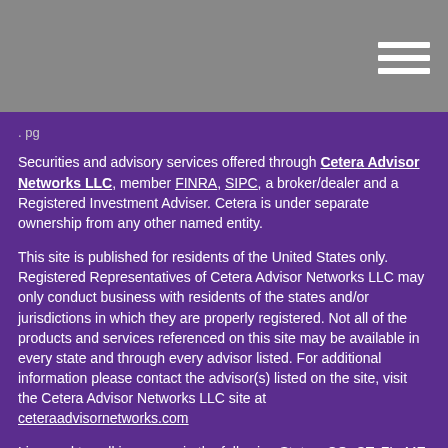Securities and advisory services offered through Cetera Advisor Networks LLC, member FINRA, SIPC, a broker/dealer and a Registered Investment Adviser. Cetera is under separate ownership from any other named entity.
This site is published for residents of the United States only. Registered Representatives of Cetera Advisor Networks LLC may only conduct business with residents of the states and/or jurisdictions in which they are properly registered. Not all of the products and services referenced on this site may be available in every state and through every advisor listed. For additional information please contact the advisor(s) listed on the site, visit the Cetera Advisor Networks LLC site at ceteraadvisornetworks.com
Licensed to sell insurance in the following States: CO, CT, FL, ME, MA, NH, NJ, NY, NC, RI, VT
Important Disclosures | Business Continuity